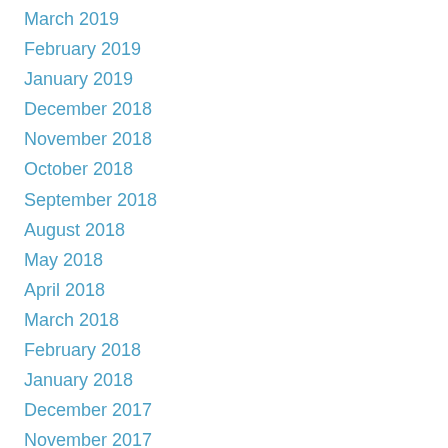March 2019
February 2019
January 2019
December 2018
November 2018
October 2018
September 2018
August 2018
May 2018
April 2018
March 2018
February 2018
January 2018
December 2017
November 2017
October 2017
September 2017
August 2017
May 2017
April 2017
March 2017